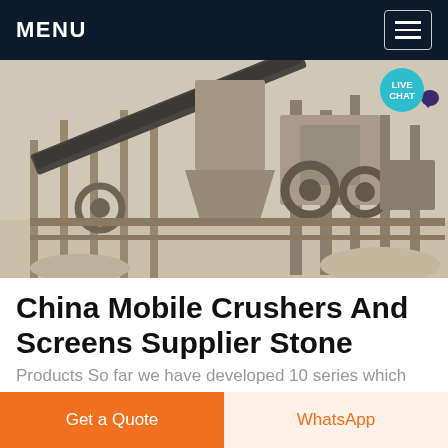MENU
[Figure (photo): Outdoor industrial mobile stone crusher and screening plant with conveyor belts, metal frame structures, wheel pulleys, and machinery, set on a dusty construction/mining site.]
China Mobile Crushers And Screens Supplier Stone
Products So far we have developed 10 series which
Get a Quote
WhatsApp